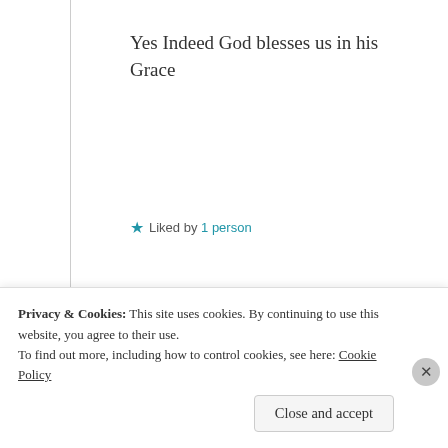Yes Indeed God blesses us in his Grace
★ Liked by 1 person
Log in to Reply
Advertisements
[Figure (infographic): Tumblr Ad-Free Browsing advertisement banner. Shows Tumblr logo with sparkles, text 'TUMBLR AD-FREE BROWSING', price $39.99 a year or $4.99 a month.]
REPORT THIS AD
Privacy & Cookies: This site uses cookies. By continuing to use this website, you agree to their use. To find out more, including how to control cookies, see here: Cookie Policy
Close and accept